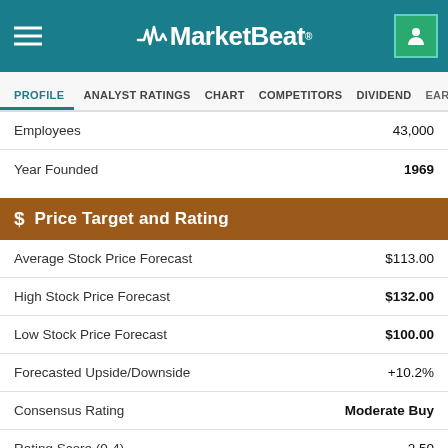MarketBeat
PROFILE | ANALYST RATINGS | CHART | COMPETITORS | DIVIDEND | EARNINGS
|  |  |
| --- | --- |
| Employees | 43,000 |
| Year Founded | 1969 |
$ Price Target and Rating
|  |  |
| --- | --- |
| Average Stock Price Forecast | $113.00 |
| High Stock Price Forecast | $132.00 |
| Low Stock Price Forecast | $100.00 |
| Forecasted Upside/Downside | +10.2% |
| Consensus Rating | Moderate Buy |
| Rating Score (0-4) | 2.50 |
| Research Coverage | 7 Analysts |
Profitability
|  |  |
| --- | --- |
| EPS (Most Recent Fiscal Year) | $5.15 |